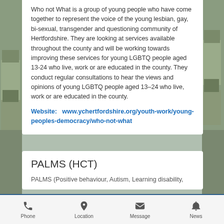Who not What is a group of young people who have come together to represent the voice of the young lesbian, gay, bi-sexual, transgender and questioning community of Hertfordshire. They are looking at services available throughout the county and will be working towards improving these services for young LGBTQ people aged 13-24 who live, work or are educated in the county. They conduct regular consultations to hear the views and opinions of young LGBTQ people aged 13–24 who live, work or are educated in the county.
Website:  www.ychertfordshire.org/youth-work/young-peoples-democracy/who-not-what
PALMS (HCT)
PALMS (Positive behaviour, Autism, Learning disability,
Phone   Location   Message   News